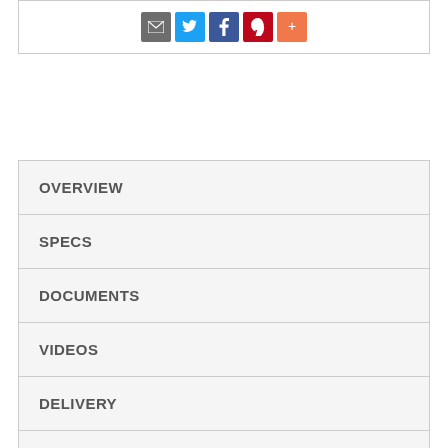[Figure (infographic): Social sharing icons: email (grey), Twitter (blue), Facebook (dark blue), Pinterest (red), More (orange)]
OVERVIEW
SPECS
DOCUMENTS
VIDEOS
DELIVERY
WARRANTY
REVIEWS (1278)